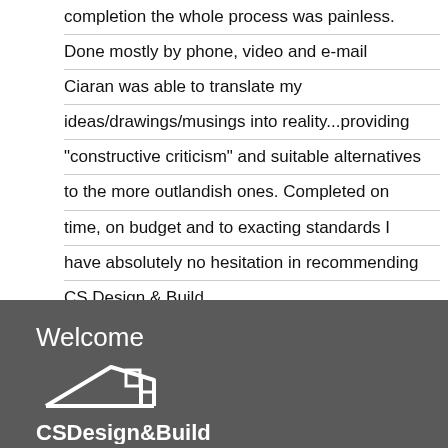completion the whole process was painless. Done mostly by phone, video and e-mail Ciaran was able to translate my ideas/drawings/musings into reality...providing "constructive criticism" and suitable alternatives to the more outlandish ones. Completed on time, on budget and to exacting standards I have absolutely no hesitation in recommending CS Design & Build.
Welcome
[Figure (logo): CS Design & Build logo in white on dark grey background showing a house outline above the text CSDesign&Build]